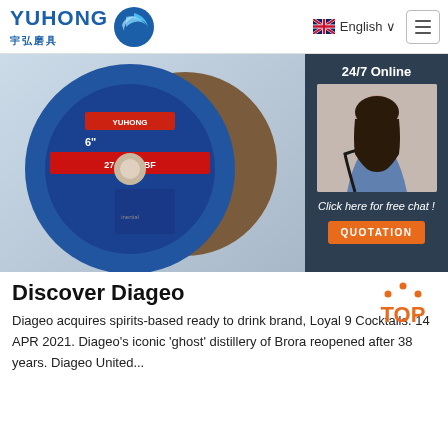[Figure (logo): Yuhong logo with blue wave icon, text 'YUHONG' and Chinese characters '宇弘磨具']
[Figure (screenshot): Website header with language selector showing UK flag and 'English' with dropdown arrow, and hamburger menu button]
[Figure (photo): Product image of Yuhong grinding/cutting discs (6 inch abrasive wheels) with product code 27-A2485BF, plus a customer service chat panel on the right showing '24/7 Online', agent photo, 'Click here for free chat!' text, and orange QUOTATION button]
Discover Diageo
[Figure (infographic): Orange TOP badge with dots above forming a triangle/arc shape]
Diageo acquires spirits-based ready to drink brand, Loyal 9 Cocktails. 14 APR 2021. Diageo's iconic 'ghost' distillery of Brora reopened after 38 years. Diageo United...